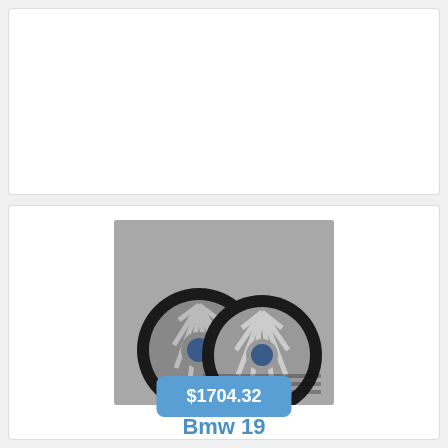[Figure (photo): Two BMW alloy wheels with winter tires, silver spoke design with BMW logo, photographed against a grey background]
Bmw 19
Bmw 19 Inch Rims 3 Series F30 F31 4 F32 F33 F36 M442 Winter Wheels Tires
$1704.32